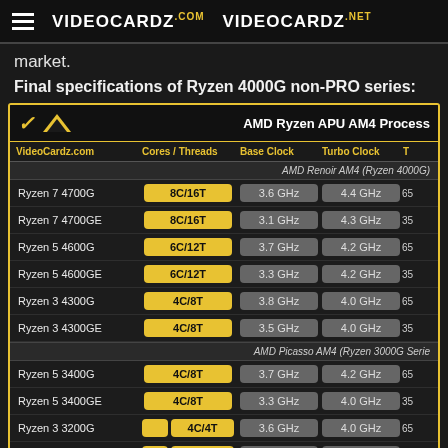VIDEOCARDZ.com   VIDEOCARDZ.net
market.
Final specifications of Ryzen 4000G non-PRO series:
| VideoCardz.com | Cores / Threads | Base Clock | Turbo Clock | T(DP) |
| --- | --- | --- | --- | --- |
| AMD Renoir AM4 (Ryzen 4000G) |  |  |  |  |
| Ryzen 7 4700G | 8C/16T | 3.6 GHz | 4.4 GHz | 65 |
| Ryzen 7 4700GE | 8C/16T | 3.1 GHz | 4.3 GHz | 35 |
| Ryzen 5 4600G | 6C/12T | 3.7 GHz | 4.2 GHz | 65 |
| Ryzen 5 4600GE | 6C/12T | 3.3 GHz | 4.2 GHz | 35 |
| Ryzen 3 4300G | 4C/8T | 3.8 GHz | 4.0 GHz | 65 |
| Ryzen 3 4300GE | 4C/8T | 3.5 GHz | 4.0 GHz | 35 |
| AMD Picasso AM4 (Ryzen 3000G Series) |  |  |  |  |
| Ryzen 5 3400G | 4C/8T | 3.7 GHz | 4.2 GHz | 65 |
| Ryzen 5 3400GE | 4C/8T | 3.3 GHz | 4.0 GHz | 35 |
| Ryzen 3 3200G | 4C/4T | 3.6 GHz | 4.0 GHz | 65 |
| Ryzen 3 3200GE | 4C/4T | 3.3 GHz | 3.8 GHz | 35 |
| AMD Raven Ridge AM4 (Ryzen 2000G Ser...) |  |  |  |  |
| Ryzen 5 2400G | 4C/8T | 3.6 GHz | 3.9 GHz | 65 |
| Ryzen 5 2400GE | 4C/8T | 3.2 GHz | 3.8 GHz | 35 |
| Ryzen 3 3200G (dim) | 4C/4T |  |  |  |